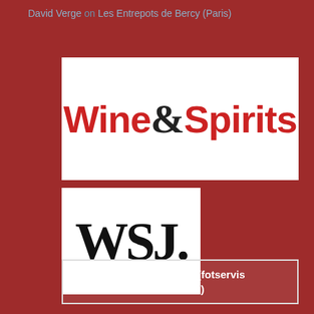David Verge on Les Entrepots de Bercy (Paris)
[Figure (logo): Wine&Spirits magazine logo on white background, red bold sans-serif text]
[Figure (logo): WSJ. Wall Street Journal logo on white background, large black serif letters]
Online Payment (fotservis @mail.ru)